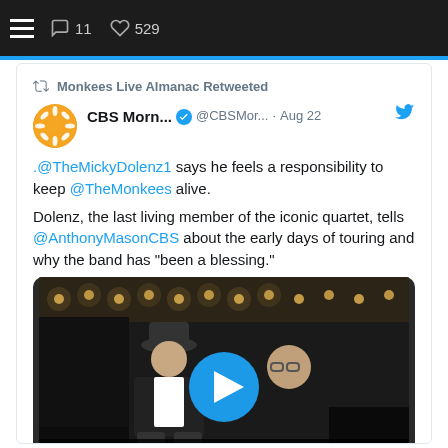11  529
Monkees Live Almanac Retweeted
CBS Morn... @CBSMor... · Aug 22
.@TheMickyDolenz1 says he feels a responsibility to keep @TheMonkees alive.

Dolenz, the last living member of the iconic quartet, tells @AnthonyMasonCBS about the early days of touring and why the band has “been a blessing.”
[Figure (screenshot): Video thumbnail showing two men seated in a darkened setting with stage lights in background; CBS Mornings MIX TAPE branding at bottom; blue circular play button overlay in center]